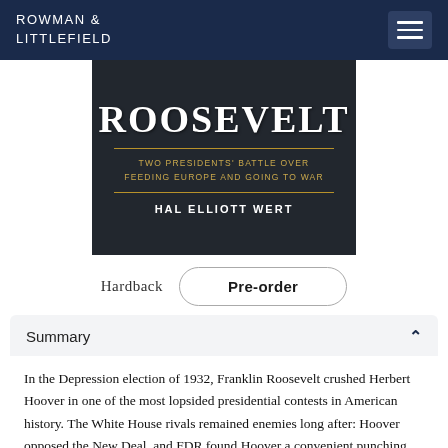ROWMAN & LITTLEFIELD
[Figure (photo): Book cover for 'Hoover and Roosevelt: Two Presidents' Battle Over Feeding Europe and Going to War' by Hal Elliott Wert. Dark background with large white text 'ROOSEVELT', gold subtitle text, and gold divider lines.]
Hardback
Pre-order
Summary
In the Depression election of 1932, Franklin Roosevelt crushed Herbert Hoover in one of the most lopsided presidential contests in American history. The White House rivals remained enemies long after: Hoover opposed the New Deal, and FDR found Hoover a convenient punching